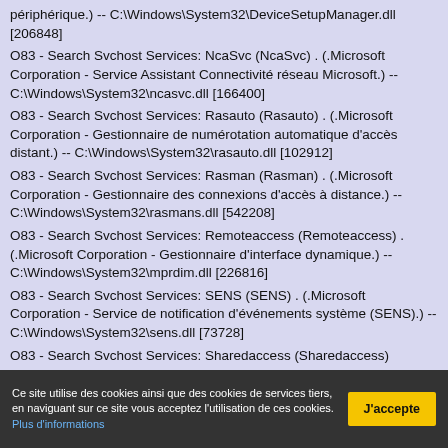périphérique.) -- C:\Windows\System32\DeviceSetupManager.dll [206848]
O83 - Search Svchost Services: NcaSvc (NcaSvc) . (.Microsoft Corporation - Service Assistant Connectivité réseau Microsoft.) -- C:\Windows\System32\ncasvc.dll [166400]
O83 - Search Svchost Services: Rasauto (Rasauto) . (.Microsoft Corporation - Gestionnaire de numérotation automatique d'accès distant.) -- C:\Windows\System32\rasauto.dll [102912]
O83 - Search Svchost Services: Rasman (Rasman) . (.Microsoft Corporation - Gestionnaire des connexions d'accès à distance.) -- C:\Windows\System32\rasmans.dll [542208]
O83 - Search Svchost Services: Remoteaccess (Remoteaccess) . (.Microsoft Corporation - Gestionnaire d'interface dynamique.) -- C:\Windows\System32\mprdim.dll [226816]
O83 - Search Svchost Services: SENS (SENS) . (.Microsoft Corporation - Service de notification d'événements système (SENS).) -- C:\Windows\System32\sens.dll [73728]
O83 - Search Svchost Services: Sharedaccess (Sharedaccess)
Ce site utilise des cookies ainsi que des cookies de services tiers, en naviguant sur ce site vous acceptez l'utilisation de ces cookies. Plus d'informations